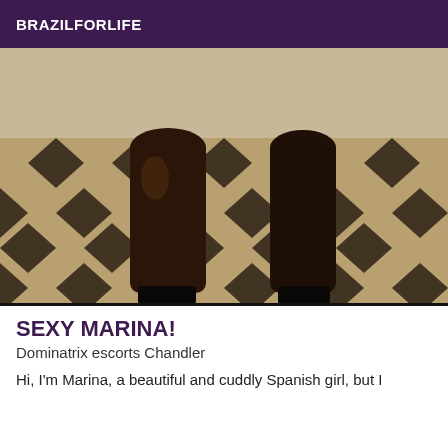BRAZILFORLIFE
[Figure (photo): Close-up photo of a person's legs in dark stockings and high heels standing on a patterned diamond tile floor]
SEXY MARINA!
Dominatrix escorts Chandler
Hi, I'm Marina, a beautiful and cuddly Spanish girl, but I